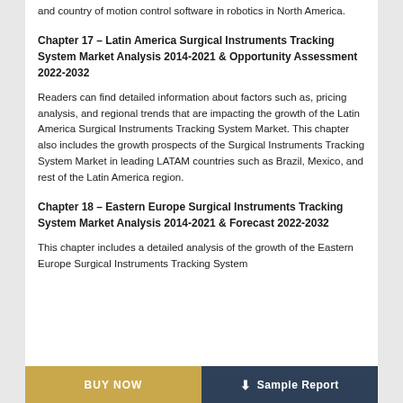and country of motion control software in robotics in North America.
Chapter 17 – Latin America Surgical Instruments Tracking System Market Analysis 2014-2021 & Opportunity Assessment 2022-2032
Readers can find detailed information about factors such as, pricing analysis, and regional trends that are impacting the growth of the Latin America Surgical Instruments Tracking System Market. This chapter also includes the growth prospects of the Surgical Instruments Tracking System Market in leading LATAM countries such as Brazil, Mexico, and rest of the Latin America region.
Chapter 18 – Eastern Europe Surgical Instruments Tracking System Market Analysis 2014-2021 & Forecast 2022-2032
This chapter includes a detailed analysis of the growth of the Eastern Europe Surgical Instruments Tracking System
BUY NOW    Sample Report